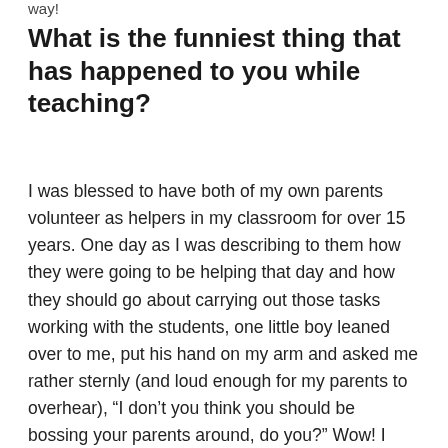way!
What is the funniest thing that has happened to you while teaching?
I was blessed to have both of my own parents volunteer as helpers in my classroom for over 15 years. One day as I was describing to them how they were going to be helping that day and how they should go about carrying out those tasks working with the students, one little boy leaned over to me, put his hand on my arm and asked me rather sternly (and loud enough for my parents to overhear), “I don’t you think you should be bossing your parents around, do you?” Wow! I guess I never thought about it that way before! My parents and I all started laughing! From the